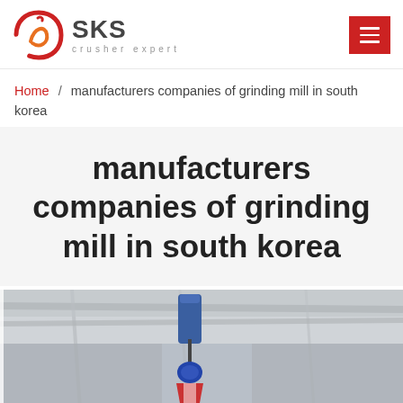SKS crusher expert
Home / manufacturers companies of grinding mill in south korea
manufacturers companies of grinding mill in south korea
[Figure (photo): Industrial machinery photo showing a crane hook or lifting equipment in a factory or warehouse ceiling setting, with structural beams visible in the background]